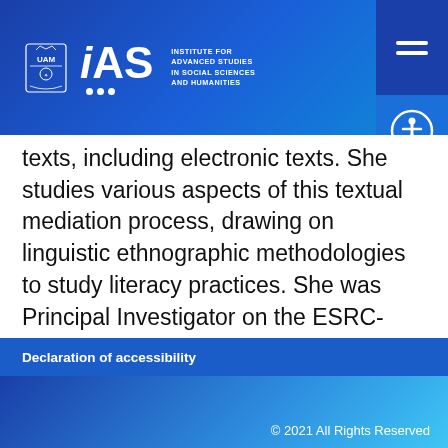IAS – Institute for Advanced Studies in Social Sciences and Humanities
texts, including electronic texts. She studies various aspects of this textual mediation process, drawing on linguistic ethnographic methodologies to study literacy practices. She was Principal Investigator on the ESRC-funded research project “The Dynamics of Knowledge Creation: Academics’ Writing Practices in the Contemporary University Workplace” (book of the project was published with Routledge
Declaration of accessibility
© 2021 All Rights Reserved